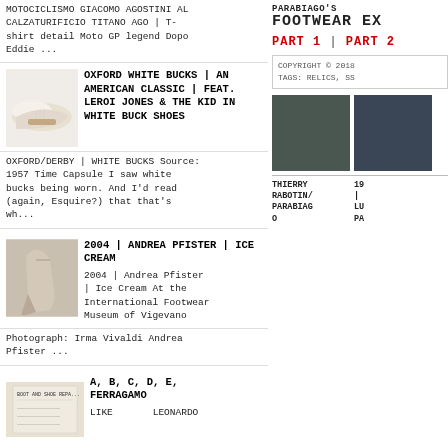MOTOCICLISMO GIACOMO AGOSTINI AL CALZATURIFICIO TITANO AGO | T-shirt detail Moto GP legend Dopo Eddie ...
[Figure (photo): White oxford/derby shoes on white background]
OXFORD WHITE BUCKS | AN AMERICAN CLASSIC | FEAT. LEROI JONES & THE KID IN WHITE BUCK SHOES
OXFORD/DERBY | WHITE BUCKS Source: 1957 Time Capsule I saw white bucks being worn. And I’d read (again, Esquire?) that that’s wh...
[Figure (photo): High heel shoe with ankle strap, cream/tan color]
2004 | ANDREA PFISTER | ICE CREAM
2004 | Andrea Pfister | Ice Cream At the International Footwear Museum of Vigevano Photograph: Irma Vivaldi Andrea Pfister ...
[Figure (photo): Boot and shoe repair book/document thumbnail]
A, B, C, D, E, FERRAGAMO
LIKE LEONARDO
PARABIAGO’S
FOOTWEAR EX
PART 1 | PART 2
COPYRIGHT © 2018
TAGS: RELICS, SS
[Figure (photo): Dark gray textile/fabric close-up with embossed text]
[Figure (photo): Dark blue/navy close-up photo]
THIERRY RABOTIN/ PARABIAG O
19 | LU PA